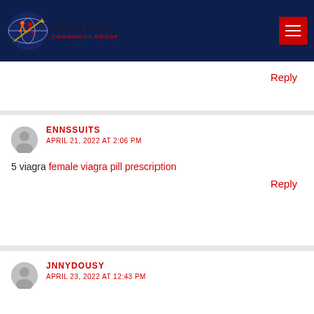[Figure (logo): Abayuuti Community Group logo with globe and figures on dark navy header bar with hamburger menu button]
Reply
ENNSSUITS
APRIL 21, 2022 AT 2:06 PM
5 viagra female viagra pill prescription
Reply
JNNYDOUSY